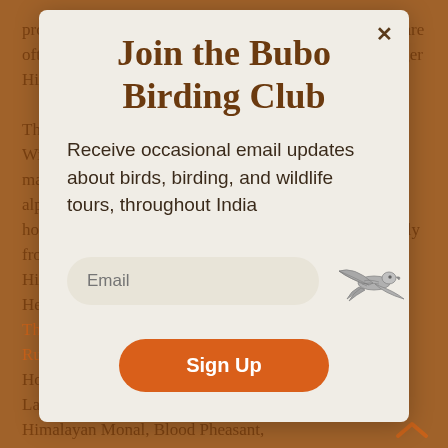provide an excellent habitat for Black-throated Tits that are often more numerous here than in the more populous Tiger Hill area.

The first few days of this tour are spent in Pingolakha Wildlife Sanctuary covers a large area, making it many rhododendron and juniper forest to the alpine lakes. We will make use of one or two simple homestays in the area and have time to explore thoroughly from Dirang and Phadang to climb the famous Himalayan route of Zuluk to the Nathang Valley and the Head Black Pheasant, Woodpecker, Laughing Thrush, Rubythroat, Monal, Accentors, Red-tailed Minla, Hoary-throated Barwing, White-browed Fulvetta and Large Niltava are some of the birds we can expect, with Himalayan Monal, Blood Pheasant,
Join the Bubo Birding Club
Receive occasional email updates about birds, birding, and wildlife tours, throughout India
[Figure (illustration): A flying bird (falcon or hawk) illustration in grey/silver tones]
Sign Up